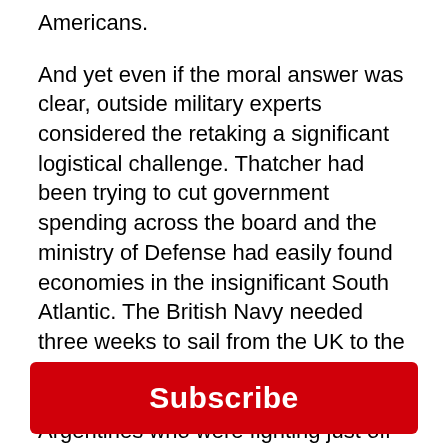Americans.
And yet even if the moral answer was clear, outside military experts considered the retaking a significant logistical challenge. Thatcher had been trying to cut government spending across the board and the ministry of Defense had easily found economies in the insignificant South Atlantic. The British Navy needed three weeks to sail from the UK to the Falklands and had to rely on what they brought with them, as opposed to the Argentines who were fighting just off their coast. Undeterred, Thatcher took the advice of her husband Denis, a veteran of World War II:
Subscribe